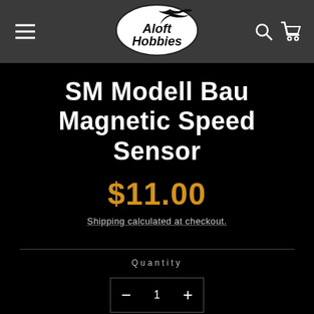[Figure (logo): Aloft Hobbies logo — white oval with black bird silhouette and bold italic text 'Aloft Hobbies']
SM Modell Bau Magnetic Speed Sensor
$11.00
Shipping calculated at checkout.
Quantity
1